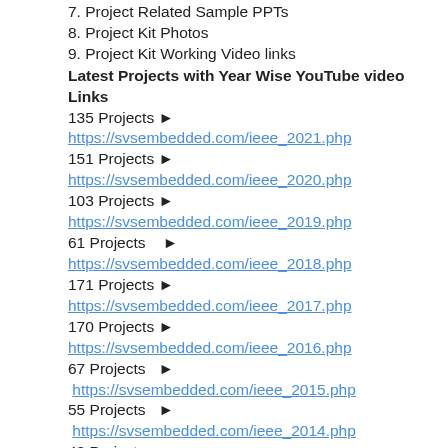7. Project Related Sample PPTs
8. Project Kit Photos
9. Project Kit Working Video links
Latest Projects with Year Wise YouTube video Links
135 Projects ► https://svsembedded.com/ieee_2021.php
151 Projects ► https://svsembedded.com/ieee_2020.php
103 Projects ► https://svsembedded.com/ieee_2019.php
61 Projects    ► https://svsembedded.com/ieee_2018.php
171 Projects ► https://svsembedded.com/ieee_2017.php
170 Projects ► https://svsembedded.com/ieee_2016.php
67 Projects  ► https://svsembedded.com/ieee_2015.php
55 Projects  ► https://svsembedded.com/ieee_2014.php
43 Projects  ► https://svsembedded.com/ieee_2013.php
900+ Projects https://www.svskit.com/2022/02/900-pr...
************************************************************
1. a smart fire detection system using iot technology with automatic
2. an iot based fire alarming and authentication system for workhous
3. automatic fire alarm system,
4. automatic fire alarm system price,